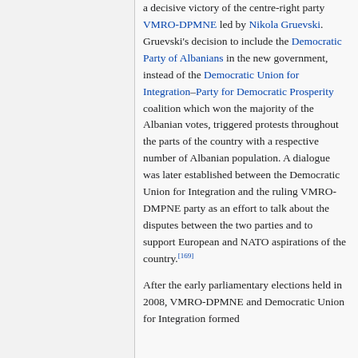a decisive victory of the centre-right party VMRO-DPMNE led by Nikola Gruevski. Gruevski's decision to include the Democratic Party of Albanians in the new government, instead of the Democratic Union for Integration–Party for Democratic Prosperity coalition which won the majority of the Albanian votes, triggered protests throughout the parts of the country with a respective number of Albanian population. A dialogue was later established between the Democratic Union for Integration and the ruling VMRO-DMPNE party as an effort to talk about the disputes between the two parties and to support European and NATO aspirations of the country.[169] After the early parliamentary elections held in 2008, VMRO-DPMNE and Democratic Union for Integration formed